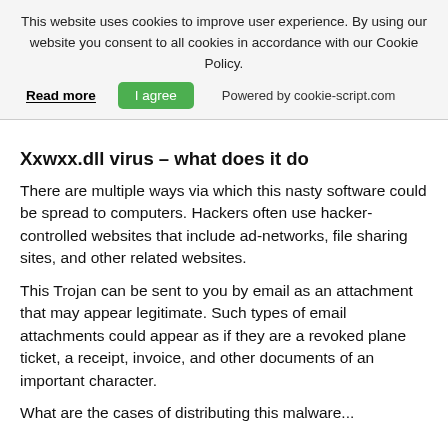This website uses cookies to improve user experience. By using our website you consent to all cookies in accordance with our Cookie Policy. Read more | I agree | Powered by cookie-script.com
Xxwxx.dll virus – what does it do
There are multiple ways via which this nasty software could be spread to computers. Hackers often use hacker-controlled websites that include ad-networks, file sharing sites, and other related websites.
This Trojan can be sent to you by email as an attachment that may appear legitimate. Such types of email attachments could appear as if they are a revoked plane ticket, a receipt, invoice, and other documents of an important character.
What are the cases of distributing this malware...